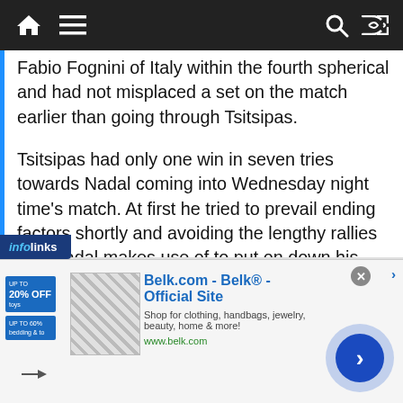Navigation bar with home, menu, search, and shuffle icons
Fabio Fognini of Italy within the fourth spherical and had not misplaced a set on the match earlier than going through Tsitsipas.
Tsitsipas had only one win in seven tries towards Nadal coming into Wednesday night time’s match. At first he tried to prevail ending factors shortly and avoiding the lengthy rallies that Nadal makes use of to put on down his opponents. However Nadal stored hitting pictures inside inches of the traces that Tsitsipas struggled to get his racket on.
[Figure (screenshot): Infolinks advertisement badge at bottom left]
[Figure (screenshot): Belk.com advertisement banner showing clothing/bedding promo with thumbnail image and CTA button]